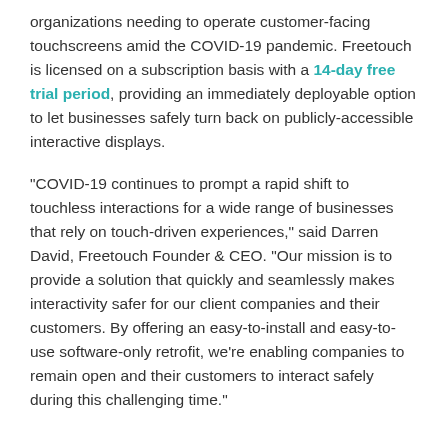organizations needing to operate customer-facing touchscreens amid the COVID-19 pandemic. Freetouch is licensed on a subscription basis with a 14-day free trial period, providing an immediately deployable option to let businesses safely turn back on publicly-accessible interactive displays.
"COVID-19 continues to prompt a rapid shift to touchless interactions for a wide range of businesses that rely on touch-driven experiences," said Darren David, Freetouch Founder & CEO. "Our mission is to provide a solution that quickly and seamlessly makes interactivity safer for our client companies and their customers. By offering an easy-to-install and easy-to-use software-only retrofit, we're enabling companies to remain open and their customers to interact safely during this challenging time."